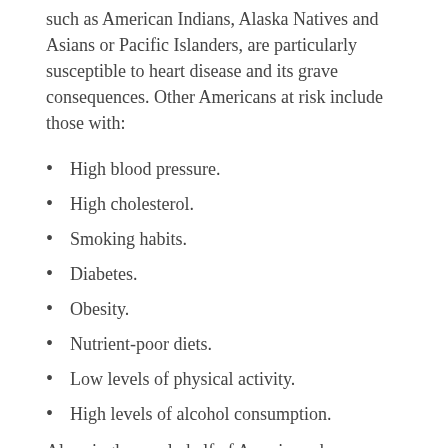such as American Indians, Alaska Natives and Asians or Pacific Islanders, are particularly susceptible to heart disease and its grave consequences. Other Americans at risk include those with:
High blood pressure.
High cholesterol.
Smoking habits.
Diabetes.
Obesity.
Nutrient-poor diets.
Low levels of physical activity.
High levels of alcohol consumption.
Alarmingly, nearly half of Americans have one or more of these major risk categories. Many categories are also frequently linked, such as